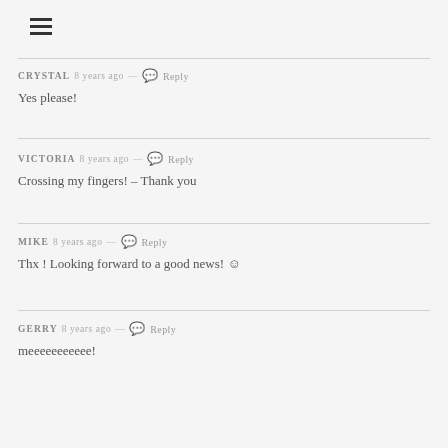[Figure (other): Hamburger menu icon (three horizontal lines)]
CRYSTAL 8 years ago — Reply
Yes please!
VICTORIA 8 years ago — Reply
Crossing my fingers! – Thank you
MIKE 8 years ago — Reply
Thx ! Looking forward to a good news! ☺
GERRY 8 years ago — Reply
meeeeeeeeeee!